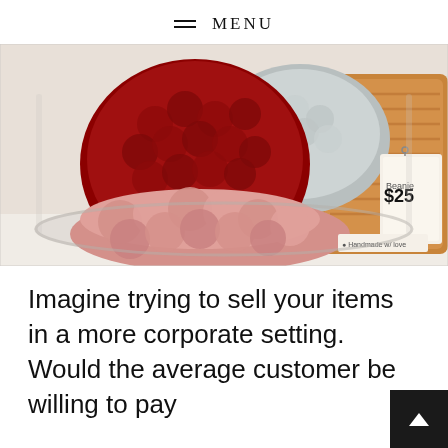MENU
[Figure (photo): A bowl containing several chunky knit/crochet items including a red beanie hat, pink ruffled scarf, gray knit item, and caramel/tan knit item. A price tag showing $25 is visible.]
Imagine trying to sell your items in a more corporate setting. Would the average customer be willing to pay